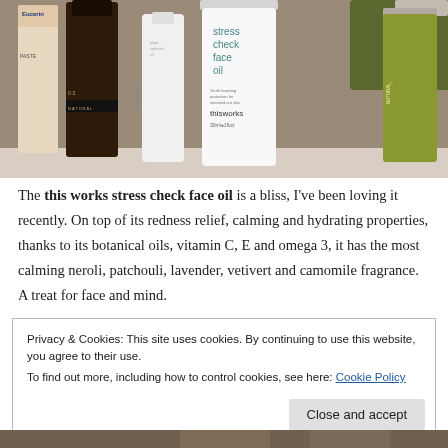[Figure (photo): Skincare product bottles arranged on a surface, including Eucerin, a dark amber bottle labeled 'S Natural', a white Dermalogica phyto replenish oil bottle, a white 'stress check face oil' by thisworks, and a green oil bottle on the right.]
The this works stress check face oil is a bliss, I've been loving it recently. On top of its redness relief, calming and hydrating properties, thanks to its botanical oils, vitamin C, E and omega 3, it has the most calming neroli, patchouli, lavender, vetivert and camomile fragrance. A treat for face and mind.
Privacy & Cookies: This site uses cookies. By continuing to use this website, you agree to their use.
To find out more, including how to control cookies, see here: Cookie Policy
Close and accept